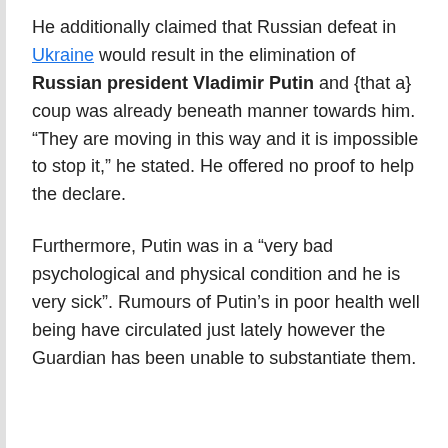He additionally claimed that Russian defeat in Ukraine would result in the elimination of Russian president Vladimir Putin and {that a} coup was already beneath manner towards him. “They are moving in this way and it is impossible to stop it,” he stated. He offered no proof to help the declare.
Furthermore, Putin was in a “very bad psychological and physical condition and he is very sick”. Rumours of Putin’s in poor health well being have circulated just lately however the Guardian has been unable to substantiate them.